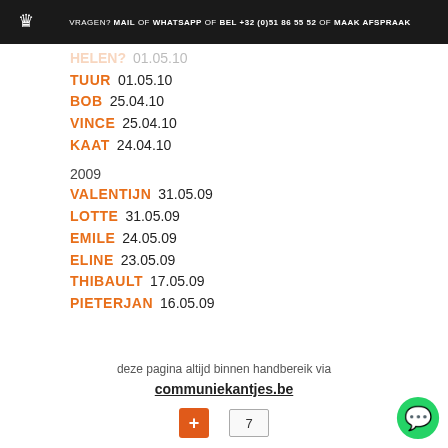VRAGEN? MAIL OF WHATSAPP OF BEL +32 (0)51 86 55 52 OF MAAK AFSPRAAK
HELEN? 01.05.10
TUUR 01.05.10
BOB 25.04.10
VINCE 25.04.10
KAAT 24.04.10
2009
VALENTIJN 31.05.09
LOTTE 31.05.09
EMILE 24.05.09
ELINE 23.05.09
THIBAULT 17.05.09
PIETERJAN 16.05.09
deze pagina altijd binnen handbereik via
communiekantjes.be
7